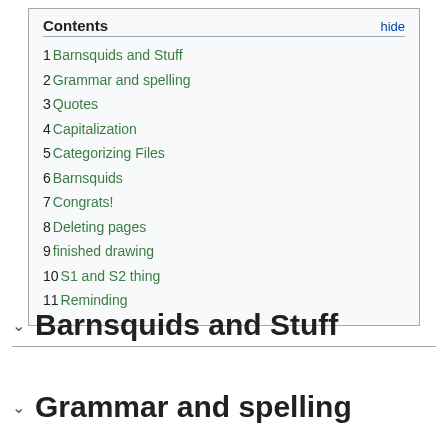| 1 | Barnsquids and Stuff |
| 2 | Grammar and spelling |
| 3 | Quotes |
| 4 | Capitalization |
| 5 | Categorizing Files |
| 6 | Barnsquids |
| 7 | Congrats! |
| 8 | Deleting pages |
| 9 | finished drawing |
| 10 | S1 and S2 thing |
| 11 | Reminding |
Barnsquids and Stuff
Grammar and spelling